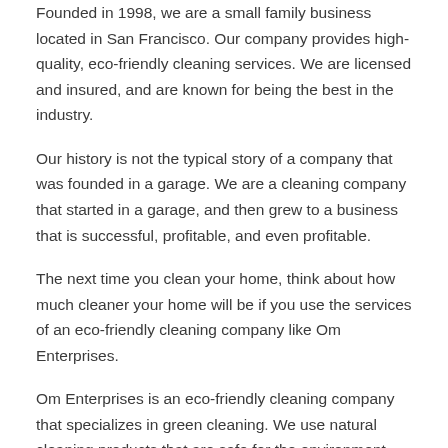Founded in 1998, we are a small family business located in San Francisco. Our company provides high-quality, eco-friendly cleaning services. We are licensed and insured, and are known for being the best in the industry.
Our history is not the typical story of a company that was founded in a garage. We are a cleaning company that started in a garage, and then grew to a business that is successful, profitable, and even profitable.
The next time you clean your home, think about how much cleaner your home will be if you use the services of an eco-friendly cleaning company like Om Enterprises.
Om Enterprises is an eco-friendly cleaning company that specializes in green cleaning. We use natural cleaning products that are safe for the environment. We do not use toxic chemicals in our products, and we do not use bleach.
We have cleaned many homes, and we are known for our great customer